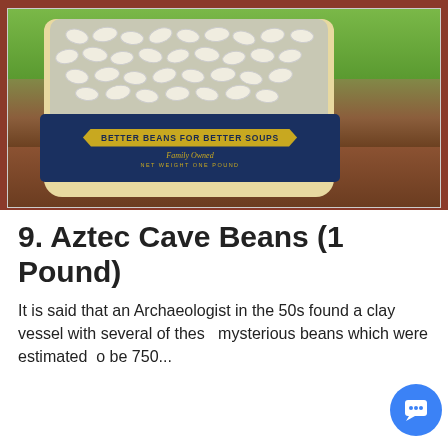[Figure (photo): A bag of Aztec Cave Beans with 'Better Beans for Better Soups' label on a wooden surface with greenery in background]
9. Aztec Cave Beans (1 Pound)
It is said that an Archaeologist in the 50s found a clay vessel with several of these mysterious beans which were estimated to be 750...